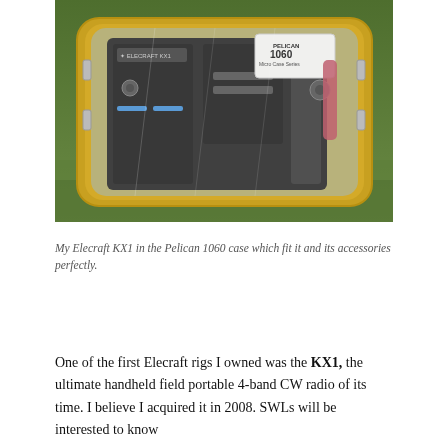[Figure (photo): Photo of an Elecraft KX1 transceiver inside a clear-lidded yellow Pelican 1060 Micro Case Series protective case, shown on green grass. The case has metal clasps and the Pelican 1060 label is visible on the lid.]
My Elecraft KX1 in the Pelican 1060 case which fit it and its accessories perfectly.
One of the first Elecraft rigs I owned was the KX1, the ultimate handheld field portable 4-band CW radio of its time. I believe I acquired it in 2008. SWLs will be interested to know